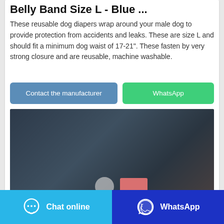Belly Band Size L - Blue ...
These reusable dog diapers wrap around your male dog to provide protection from accidents and leaks. These are size L and should fit a minimum dog waist of 17-21". These fasten by very strong closure and are reusable, machine washable.
Contact the manufacturer
WhatsApp
[Figure (photo): Product image showing dog belly band, dark background with partial product view, salmon/red colored item visible at bottom]
Chat online
WhatsApp